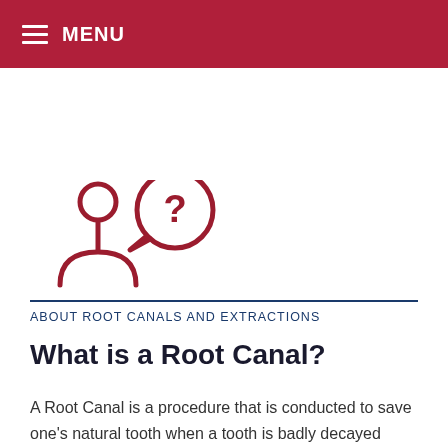MENU
[Figure (illustration): Icon of two people silhouettes with a speech bubble containing a question mark, in dark red/crimson color]
ABOUT ROOT CANALS AND EXTRACTIONS
What is a Root Canal?
A Root Canal is a procedure that is conducted to save one's natural tooth when a tooth is badly decayed